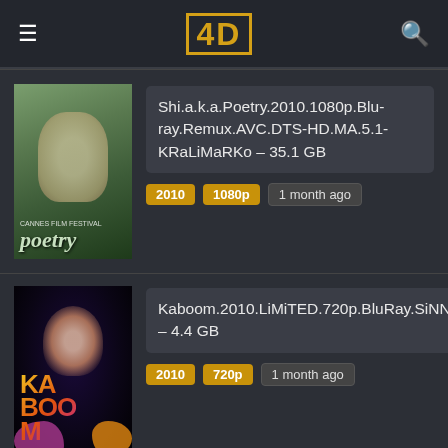4D
[Figure (screenshot): Movie poster for Poetry (2010), green toned art film poster]
Shi.a.k.a.Poetry.2010.1080p.Blu-ray.Remux.AVC.DTS-HD.MA.5.1-KRaLiMaRKo – 35.1 GB
2010 | 1080p | 1 month ago
[Figure (screenshot): Movie poster for Kaboom (2010), psychedelic colorful poster with bright neon colors]
Kaboom.2010.LiMiTED.720p.BluRay.SiNNERS – 4.4 GB
2010 | 720p | 1 month ago